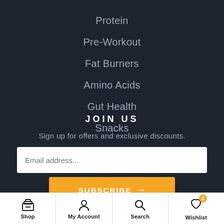Protein
Pre-Workout
Fat Burners
Amino Acids
Gut Health
Snacks
JOIN US
Sign up for offers and exclusive discounts.
Email address...
SUBSCRIBE →
Shop | My Account | Search | Wishlist